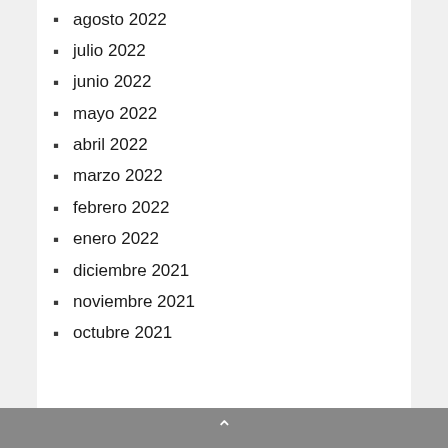agosto 2022
julio 2022
junio 2022
mayo 2022
abril 2022
marzo 2022
febrero 2022
enero 2022
diciembre 2021
noviembre 2021
octubre 2021
^